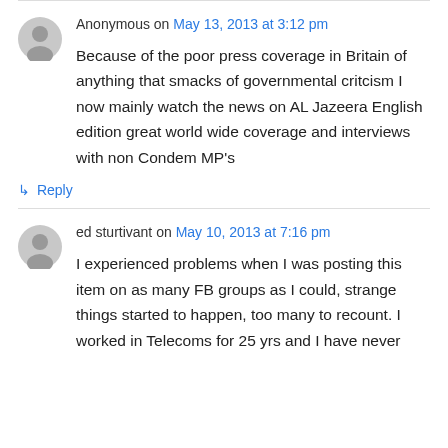Anonymous on May 13, 2013 at 3:12 pm
Because of the poor press coverage in Britain of anything that smacks of governmental critcism I now mainly watch the news on AL Jazeera English edition great world wide coverage and interviews with non Condem MP's
↳ Reply
ed sturtivant on May 10, 2013 at 7:16 pm
I experienced problems when I was posting this item on as many FB groups as I could, strange things started to happen, too many to recount. I worked in Telecoms for 25 yrs and I have never